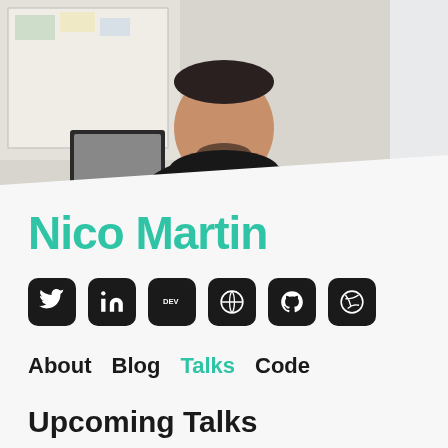[Figure (photo): Portrait photo of Nico Martin, a young man with dark beard wearing a black sweatshirt, standing in an office with a whiteboard visible in the background. The photo has a diagonal white overlay at the bottom.]
Nico Martin
[Figure (infographic): Row of six social media icon buttons with black rounded square backgrounds: Twitter (bird icon), LinkedIn (in icon), DEV, WordPress, GitHub (octocat), Dribbble (basketball icon)]
About  Blog  Talks  Code
Upcoming Talks